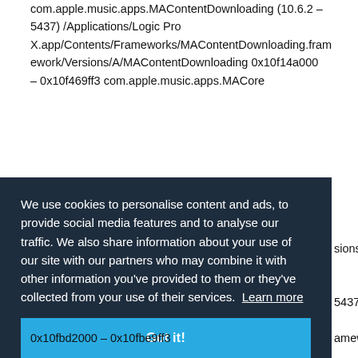com.apple.music.apps.MAContentDownloading (10.6.2 – 5437) /Applications/Logic Pro X.app/Contents/Frameworks/MAContentDownloading.framework/Versions/A/MAContentDownloading 0x10f14a000 – 0x10f469ff3 com.apple.music.apps.MACore
We use cookies to personalise content and ads, to provide social media features and to analyse our traffic. We also share information about your use of our site with our partners who may combine it with other information you've provided to them or they've collected from your use of their services. Learn more
Got it!
0x10fbd2000 – 0x10fbe9ff3